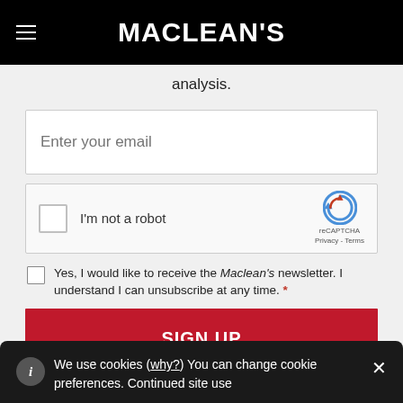MACLEAN'S
analysis.
[Figure (screenshot): Email input field with placeholder text 'Enter your email']
[Figure (screenshot): reCAPTCHA widget with checkbox and 'I'm not a robot' label, reCAPTCHA logo, Privacy and Terms links]
Yes, I would like to receive the Maclean's newsletter. I understand I can unsubscribe at any time. *
SIGN UP
We use cookies (why?) You can change cookie preferences. Continued site use